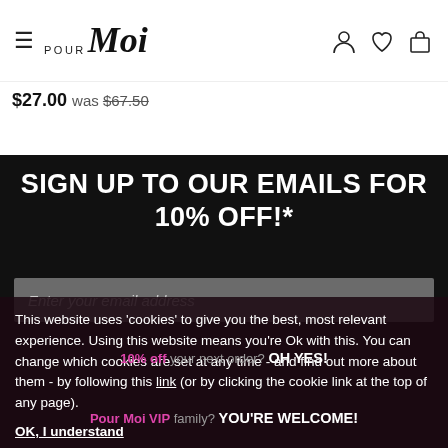Pour Moi navigation bar with hamburger menu, logo, and icons
$27.00 was $67.50
SIGN UP TO OUR EMAILS FOR 10% OFF!*
Enter your email address
This website uses 'cookies' to give you the best, most relevant experience. Using this website means you're Ok with this. You can change which cookies are set at any time - and find out more about them - by following this link (or by clicking the cookie link at the top of any page).
10% off your next order? OH YES!
OK, I understand
Pour Moi VIP family? YOU'RE WELCOME!